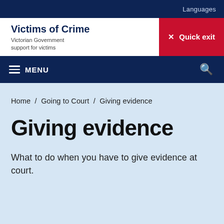Languages
Victims of Crime
Victorian Government support for victims
✕ Quick exit
≡ MENU
Home / Going to Court / Giving evidence
Giving evidence
What to do when you have to give evidence at court.